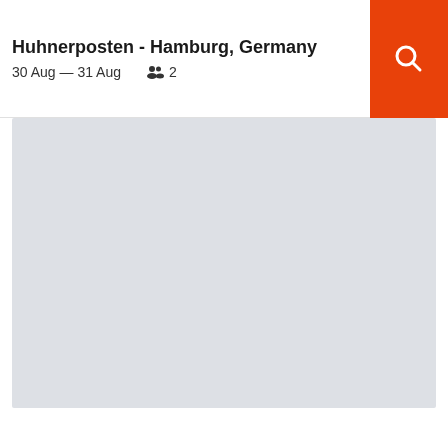Huhnerposten - Hamburg, Germany
30 Aug — 31 Aug   2
[Figure (screenshot): Orange search button with white magnifying glass icon]
[Figure (map): Light grey map placeholder area showing a map of the hotel location area]